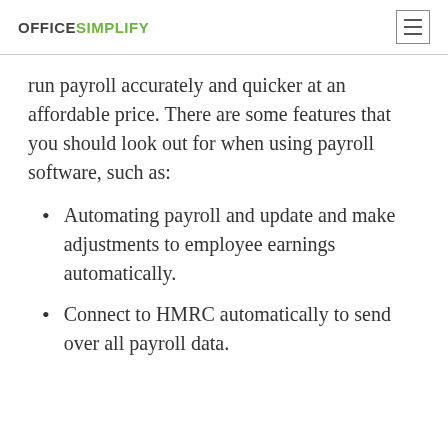OFFICESIMPLIFY
run payroll accurately and quicker at an affordable price. There are some features that you should look out for when using payroll software, such as:
Automating payroll and update and make adjustments to employee earnings automatically.
Connect to HMRC automatically to send over all payroll data.